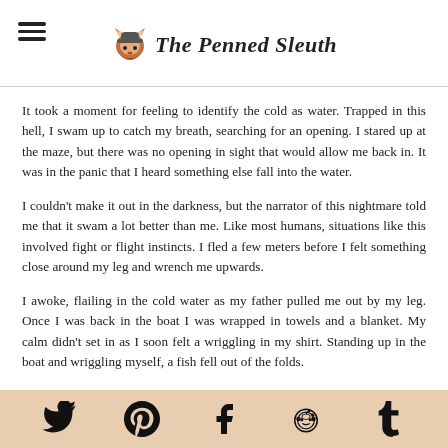The Penned Sleuth
It took a moment for feeling to identify the cold as water. Trapped in this hell, I swam up to catch my breath, searching for an opening. I stared up at the maze, but there was no opening in sight that would allow me back in. It was in the panic that I heard something else fall into the water.
I couldn't make it out in the darkness, but the narrator of this nightmare told me that it swam a lot better than me. Like most humans, situations like this involved fight or flight instincts. I fled a few meters before I felt something close around my leg and wrench me upwards.
I awoke, flailing in the cold water as my father pulled me out by my leg. Once I was back in the boat I was wrapped in towels and a blanket. My calm didn't set in as I soon felt a wriggling in my shirt. Standing up in the boat and wriggling myself, a fish fell out of the folds.
Social icons: Twitter, Pinterest, Facebook, Reddit, Tumblr